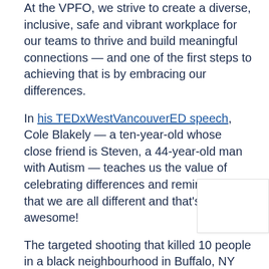At the VPFO, we strive to create a diverse, inclusive, safe and vibrant workplace for our teams to thrive and build meaningful connections — and one of the first steps to achieving that is by embracing our differences.
In his TEDxWestVancouverED speech, Cole Blakely — a ten-year-old whose close friend is Steven, a 44-year-old man with Autism — teaches us the value of celebrating differences and reminds us that we are all different and that's awesome!
The targeted shooting that killed 10 people in a black neighbourhood in Buffalo, NY this past weekend is a devastating reminder of the hate and discrimination that still exist against racialized communities, as well as the terrifying outcomes having a narrow and single-minded worldview may cause. We extend our deepest condolences to the families and loved ones of the victims.
If you feel distressed and require support, please reach